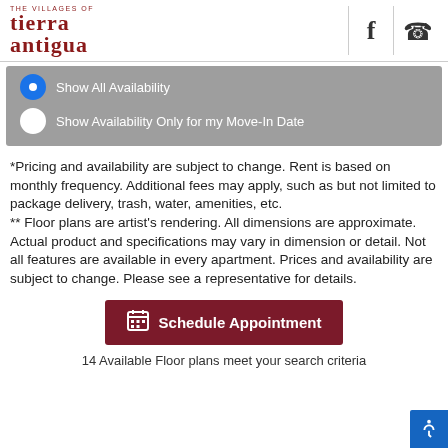The Villages of Tierra Antigua
Show All Availability (selected)
Show Availability Only for my Move-In Date
*Pricing and availability are subject to change. Rent is based on monthly frequency. Additional fees may apply, such as but not limited to package delivery, trash, water, amenities, etc.
** Floor plans are artist's rendering. All dimensions are approximate. Actual product and specifications may vary in dimension or detail. Not all features are available in every apartment. Prices and availability are subject to change. Please see a representative for details.
Schedule Appointment
14 Available Floor plans meet your search criteria